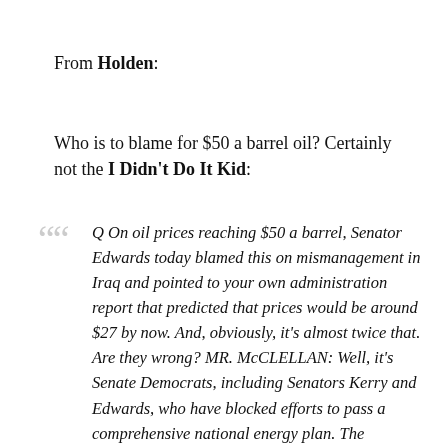From Holden:
Who is to blame for $50 a barrel oil? Certainly not the I Didn't Do It Kid:
Q On oil prices reaching $50 a barrel, Senator Edwards today blamed this on mismanagement in Iraq and pointed to your own administration report that predicted that prices would be around $27 by now. And, obviously, it's almost twice that. Are they wrong? MR. McCLELLAN: Well, it's Senate Democrats, including Senators Kerry and Edwards, who have blocked efforts to pass a comprehensive national energy plan. The President put forward a comprehensive national energy plan that would help make America energy self-sufficient. We need to reduce our dependence on foreign sources of energy. This